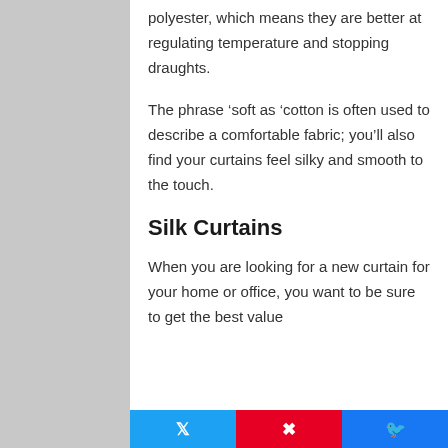polyester, which means they are better at regulating temperature and stopping draughts.
The phrase ‘soft as ‘cotton is often used to describe a comfortable fabric; you’ll also find your curtains feel silky and smooth to the touch.
Silk Curtains
When you are looking for a new curtain for your home or office, you want to be sure to get the best value
[Figure (other): Social share buttons: Twitter (blue), Pinterest (red), Facebook (blue)]